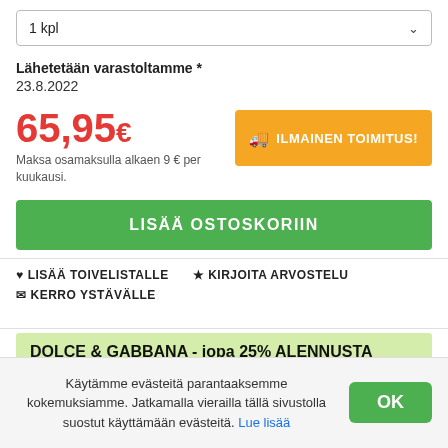1 kpl
Lähetetään varastoltamme * 23.8.2022
65,95 €
Maksa osamaksulla alkaen 9 € per kuukausi.
🚚 ILMAINEN TOIMITUS!
LISÄÄ OSTOSKORIIN
♥ LISÄÄ TOIVELISTALLE  ★ KIRJOITA ARVOSTELU
✉ KERRO YSTÄVÄLLE
DOLCE & GABBANA - jopa 25% ALENNUSTA
Käytämme evästeitä parantaaksemme kokemuksiamme. Jatkamalla vierailla tällä sivustolla suostut käyttämään evästeitä. Lue lisää
OK